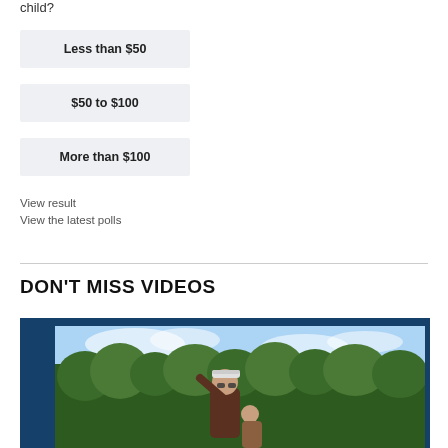child?
Less than $50
$50 to $100
More than $100
View result
View the latest polls
DON'T MISS VIDEOS
[Figure (photo): Video thumbnail showing a person with a white cap outdoors with trees and blue sky in the background, set in a dark blue frame.]